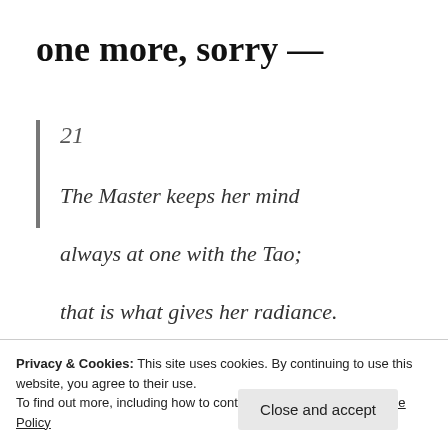one more, sorry —
21
The Master keeps her mind
always at one with the Tao;
that is what gives her radiance.
Privacy & Cookies: This site uses cookies. By continuing to use this website, you agree to their use.
To find out more, including how to control cookies, see here: Cookie Policy
Close and accept